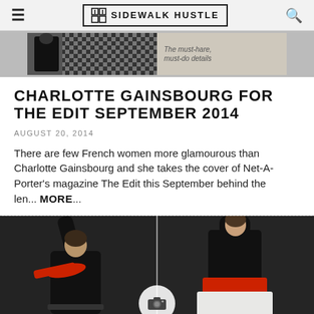SIDEWALK HUSTLE
[Figure (photo): Fashion advertisement banner image showing a model in dark outfit against a checkered/patterned background with text]
CHARLOTTE GAINSBOURG FOR THE EDIT SEPTEMBER 2014
AUGUST 20, 2014
There are few French women more glamourous than Charlotte Gainsbourg and she takes the cover of Net-A-Porter's magazine The Edit this September behind the len... MORE...
[Figure (photo): Two fashion photographs side by side: left shows a model in black outfit with red scarf arms raised; right shows a model in black top with red belt and white skirt arms raised overhead]